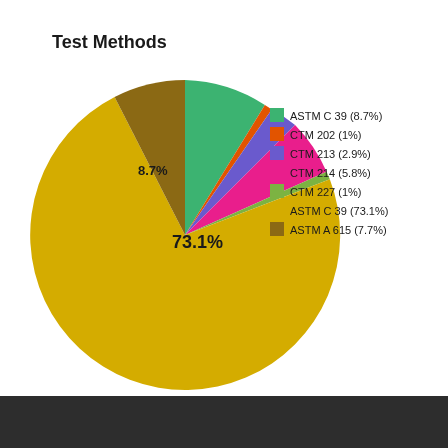[Figure (pie-chart): Test Methods]